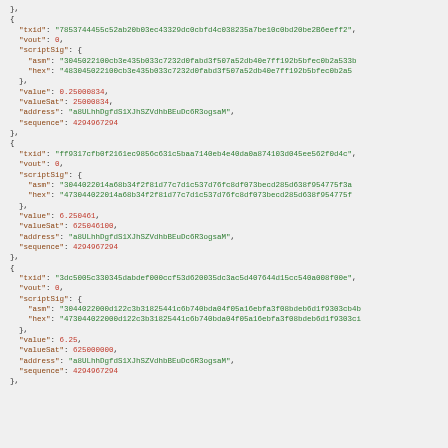JSON code block showing Bitcoin transaction inputs with txid, vout, scriptSig (asm and hex), value, valueSat, address, and sequence fields for three transactions.